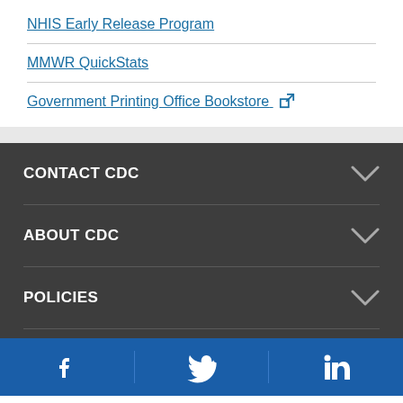NHIS Early Release Program
MMWR QuickStats
Government Printing Office Bookstore [external link]
CONTACT CDC
ABOUT CDC
POLICIES
[Figure (other): Social media icons for Facebook, Twitter, and LinkedIn in blue footer bar]